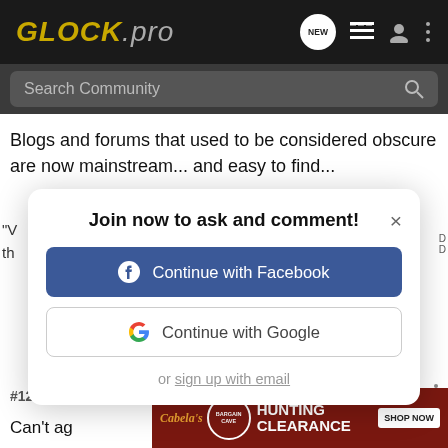GLOCK.pro — navigation header with search bar
Blogs and forums that used to be considered obscure are now mainstream... and easy to find...
[Figure (screenshot): Modal dialog: Join now to ask and comment! with Continue with Facebook button, Continue with Google button, and or sign up with email link]
#12 · Ja...
Can't ag...Forum
[Figure (infographic): Cabela's Bargain Cave Hunting Clearance advertisement banner with SHOP NOW button]